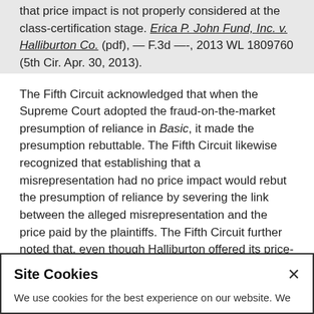that price impact is not properly considered at the class-certification stage. Erica P. John Fund, Inc. v. Halliburton Co. (pdf), — F.3d —-, 2013 WL 1809760 (5th Cir. Apr. 30, 2013).
The Fifth Circuit acknowledged that when the Supreme Court adopted the fraud-on-the-market presumption of reliance in Basic, it made the presumption rebuttable. The Fifth Circuit likewise recognized that establishing that a misrepresentation had no price impact would rebut the presumption of reliance by severing the link between the alleged misrepresentation and the price paid by the plaintiffs. The Fifth Circuit further noted that, even though Halliburton offered its price-impact evidence only for rebuttal purposes, such evidence also could be
Site Cookies
We use cookies for the best experience on our website. We